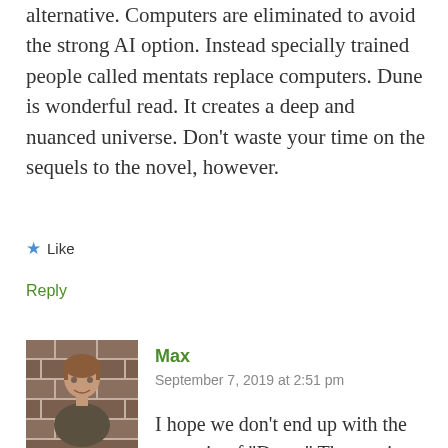alternative. Computers are eliminated to avoid the strong AI option. Instead specially trained people called mentats replace computers. Dune is wonderful read. It creates a deep and nuanced universe. Don't waste your time on the sequels to the novel, however.
★ Like
Reply
Max
September 7, 2019 at 2:51 pm
I hope we don't end up with the scenario of "Dune." That setting is not the best possible future, to be sure (and in a lot of ways feels less